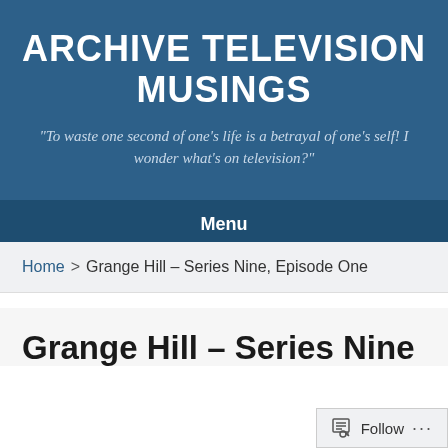ARCHIVE TELEVISION MUSINGS
"To waste one second of one's life is a betrayal of one's self! I wonder what's on television?"
Menu
Home > Grange Hill – Series Nine, Episode One
Grange Hill – Series Nine